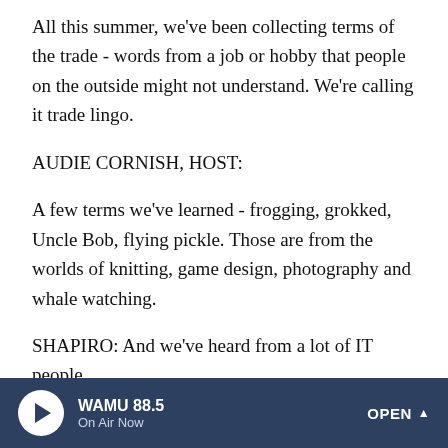All this summer, we've been collecting terms of the trade - words from a job or hobby that people on the outside might not understand. We're calling it trade lingo.
AUDIE CORNISH, HOST:
A few terms we've learned - frogging, grokked, Uncle Bob, flying pickle. Those are from the worlds of knitting, game design, photography and whale watching.
SHAPIRO: And we've heard from a lot of IT people.
CORNISH: Turns out, IT folks have coded their own language to shield the rest of us from the truth.
SHAPIRO: Words like this from Robert Sundwick of Toledo
WAMU 88.5  On Air Now  OPEN ^